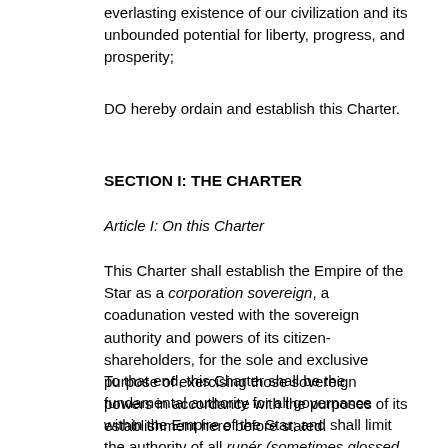everlasting existence of our civilization and its unbounded potential for liberty, progress, and prosperity;
DO hereby ordain and establish this Charter.
SECTION I: THE CHARTER
Article I: On this Charter
This Charter shall establish the Empire of the Star as a corporation sovereign, a coadunation vested with the sovereign authority and powers of its citizen-shareholders, for the sole and exclusive purpose of exercising those sovereign powers in accordance with the purposes of its establishment here before stated.
To that end, this Charter shall be the fundamental authority for all governance within the Empire of the Star; and shall limit the authority of all runér (sometimes glossed "noble", but perhaps better glossed "manager", "supervisor", or "harmonizer" — ed.) therein wielding authority by right of coronargyr or by delegation of Mandate, and all instrumentalities of governance